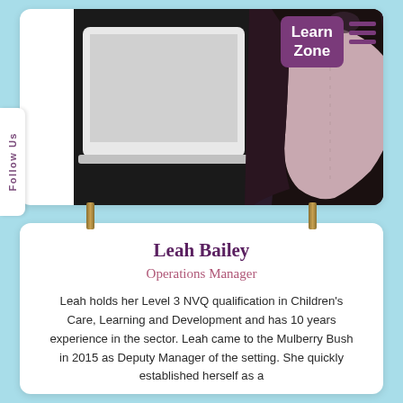[Figure (photo): Person photo showing someone in dark and pink clothing, partially cropped, with a laptop visible]
Follow Us
[Figure (logo): Learn Zone purple badge/logo in top right corner]
Leah Bailey
Operations Manager
Leah holds her Level 3 NVQ qualification in Children's Care, Learning and Development and has 10 years experience in the sector. Leah came to the Mulberry Bush in 2015 as Deputy Manager of the setting. She quickly established herself as a